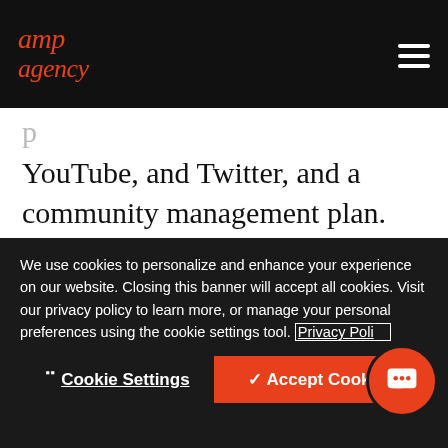amp agency
... YouTube, and Twitter, and a community management plan. Instagram, for example, served as a hub to introduce users to the brand's aesthetic and a place to showcase brand love, user generated images, and influencer content, which we know are all-important in the current
We use cookies to personalize and enhance your experience on our website. Closing this banner will accept all cookies. Visit our privacy policy to learn more, or manage your personal preferences using the cookie settings tool. Privacy Policy
Cookie Settings | Accept Cookies